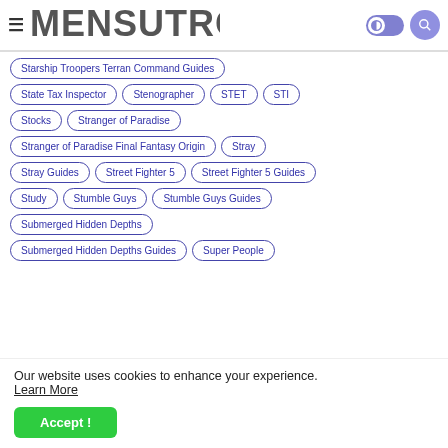MENSUTROPRO
Starship Troopers Terran Command Guides
State Tax Inspector
Stenographer
STET
STI
Stocks
Stranger of Paradise
Stranger of Paradise Final Fantasy Origin
Stray
Stray Guides
Street Fighter 5
Street Fighter 5 Guides
Study
Stumble Guys
Stumble Guys Guides
Submerged Hidden Depths
Submerged Hidden Depths Guides
Super People
Our website uses cookies to enhance your experience. Learn More
Accept !